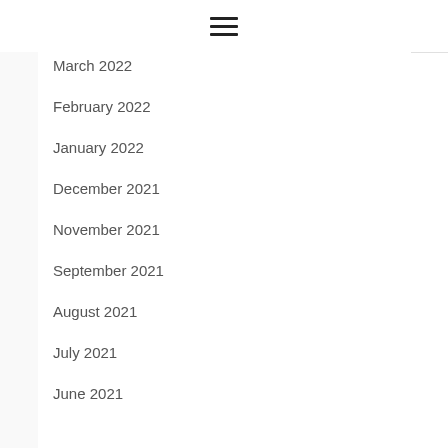≡
March 2022
February 2022
January 2022
December 2021
November 2021
September 2021
August 2021
July 2021
June 2021